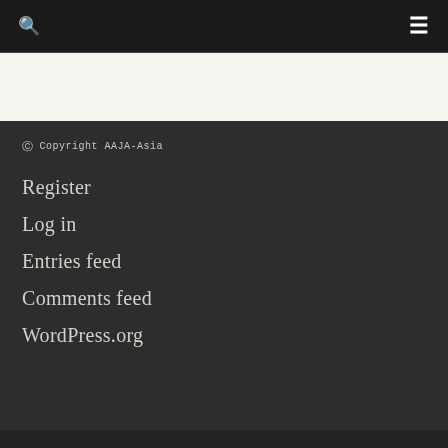🔍  ≡
© Copyright AAJA-Asia
Register
Log in
Entries feed
Comments feed
WordPress.org